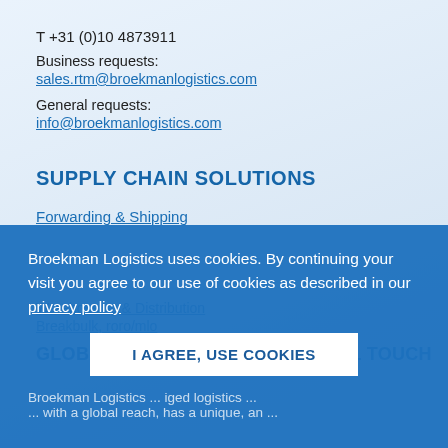T +31 (0)10 4873911
Business requests:
sales.rtm@broekmanlogistics.com
General requests:
info@broekmanlogistics.com
SUPPLY CHAIN SOLUTIONS
Forwarding & Shipping
Warehousing & Distribution
Breakbulk, roro/mlo
GLOBAL REACH WITH A PERSONAL TOUCH
Broekman Logistics uses cookies. By continuing your visit you agree to our use of cookies as described in our privacy policy
I AGREE, USE COOKIES
Broekman Logistics ... iged logistics ... with a global reach, has a unique, an ...